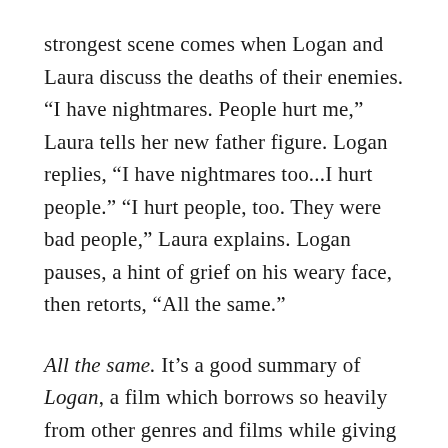strongest scene comes when Logan and Laura discuss the deaths of their enemies. “I have nightmares. People hurt me,” Laura tells her new father figure. Logan replies, “I have nightmares too...I hurt people.” “I hurt people, too. They were bad people,” Laura explains. Logan pauses, a hint of grief on his weary face, then retorts, “All the same.”
All the same. It’s a good summary of Logan, a film which borrows so heavily from other genres and films while giving us another dose of what Wolverine-lovers will appreciate: a growling Hugh Jackman sporting adamantium claws.